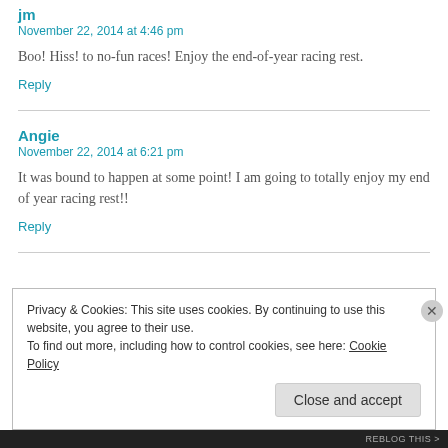jm
November 22, 2014 at 4:46 pm
Boo! Hiss! to no-fun races! Enjoy the end-of-year racing rest.
Reply
Angie
November 22, 2014 at 6:21 pm
It was bound to happen at some point! I am going to totally enjoy my end of year racing rest!!
Reply
Privacy & Cookies: This site uses cookies. By continuing to use this website, you agree to their use.
To find out more, including how to control cookies, see here: Cookie Policy
Close and accept